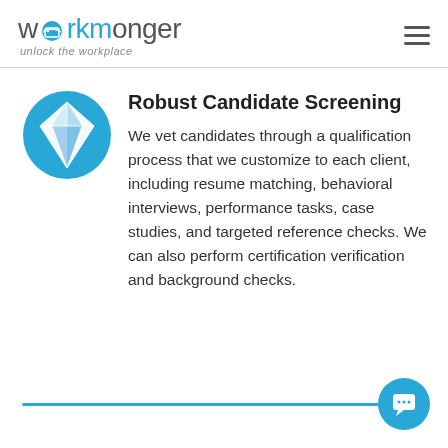workmonger — unlock the workplace
Robust Candidate Screening
We vet candidates through a qualification process that we customize to each client, including resume matching, behavioral interviews, performance tasks, case studies, and targeted reference checks. We can also perform certification verification and background checks.